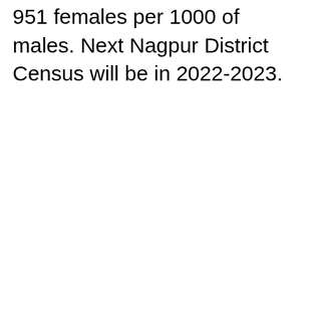951 females per 1000 of males. Next Nagpur District Census will be in 2022-2023.